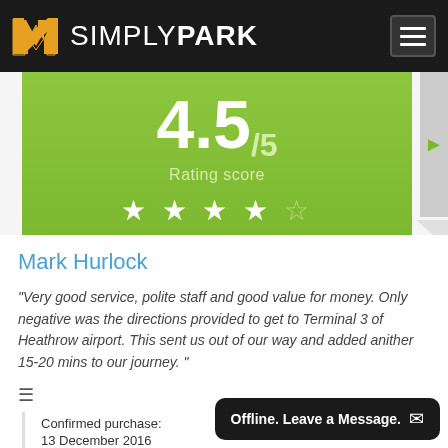SIMPLY PARK
[Figure (infographic): Rating score banner showing 4.5/5 with 4.5 filled stars and label 'Rating score' on green background]
Mark Hurlock
"Very good service, polite staff and good value for money. Only negative was the directions provided to get to Terminal 3 of Heathrow airport. This sent us out of our way and added anither 15-20 mins to our journey. "
Confirmed purchase:
13 December 2016
Published on:
Offline. Leave a Message.